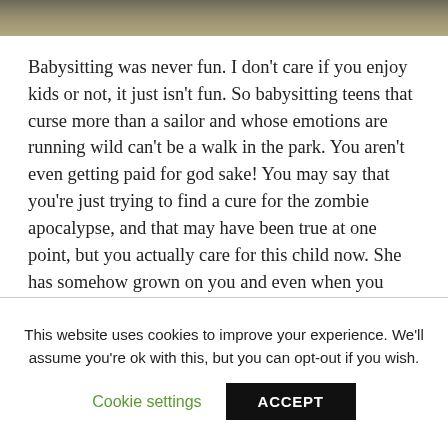[Figure (photo): Blurred/dark header image at top of page]
Babysitting was never fun. I don't care if you enjoy kids or not, it just isn't fun. So babysitting teens that curse more than a sailor and whose emotions are running wild can't be a walk in the park. You aren't even getting paid for god sake! You may say that you're just trying to find a cure for the zombie apocalypse, and that may have been true at one point, but you actually care for this child now. She has somehow grown on you and even when you aren't playing the game you are thinking about poor Ellie and how she needs you to survive.
This website uses cookies to improve your experience. We'll assume you're ok with this, but you can opt-out if you wish.
Cookie settings
ACCEPT